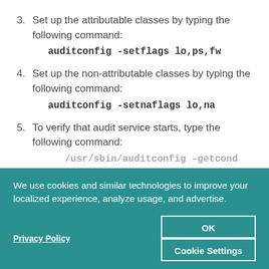3. Set up the attributable classes by typing the following command:
auditconfig -setflags lo,ps,fw
4. Set up the non-attributable classes by typing the following command:
auditconfig -setnaflags lo,na
5. To verify that audit service starts, type the following command:
/usr/sbin/auditconfig -getcond
We use cookies and similar technologies to improve your localized experience, analyze usage, and advertise.
Privacy Policy
OK
Cookie Settings